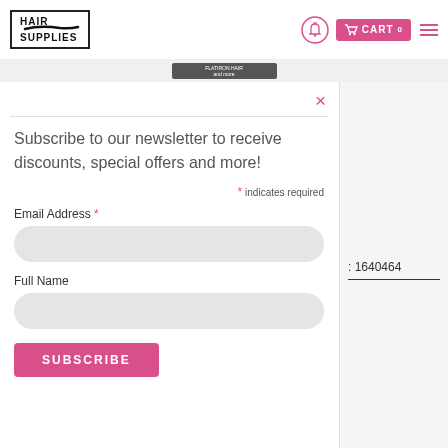[Figure (logo): Hair Supplies logo with brush stroke, inside a rectangular border]
[Figure (screenshot): Navigation icons: bell/notification icon, pink cart button with CART 0 label, pink hamburger menu icon]
[Figure (screenshot): Dark banner strip with small white text]
×
Subscribe to our newsletter to receive discounts, special offers and more!
* indicates required
Email Address *
Full Name
SUBSCRIBE
: 1640464